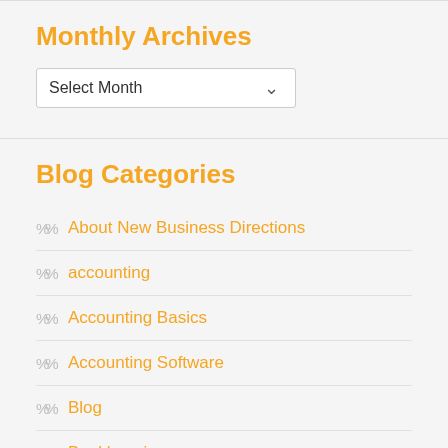Monthly Archives
[Figure (other): Dropdown select box with label 'Select Month' and a down arrow]
Blog Categories
About New Business Directions
accounting
Accounting Basics
Accounting Software
Blog
Bookkeeping